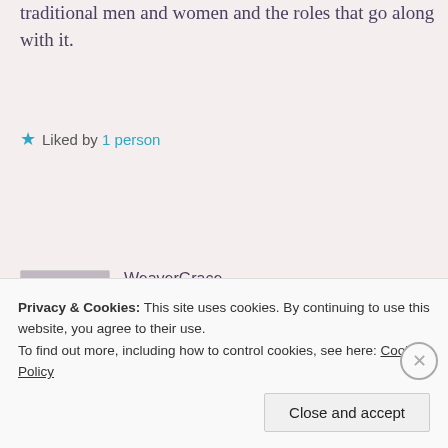traditional men and women and the roles that go along with it.
★ Liked by 1 person
Log in to Reply
WeaverGrace
May 10, 2014 at 9:46 pm
I agree that conversations are good. I
Privacy & Cookies: This site uses cookies. By continuing to use this website, you agree to their use.
To find out more, including how to control cookies, see here: Cookie Policy
Close and accept